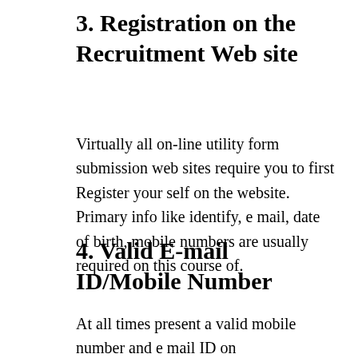3. Registration on the Recruitment Web site
Virtually all on-line utility form submission web sites require you to first Register your self on the website. Primary info like identify, e mail, date of birth, mobile numbers are usually required on this course of.
4. Valid E-mail ID/Mobile Number
At all times present a valid mobile number and e mail ID on